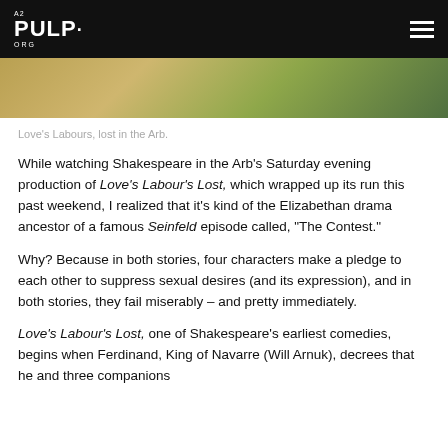A2 PULP.ORG
[Figure (photo): Partial view of outdoor theatrical production, showing performers in period costumes against a green leafy background.]
Love's Labours, lost in the Arb.
While watching Shakespeare in the Arb's Saturday evening production of Love's Labour's Lost, which wrapped up its run this past weekend, I realized that it's kind of the Elizabethan drama ancestor of a famous Seinfeld episode called, "The Contest."
Why? Because in both stories, four characters make a pledge to each other to suppress sexual desires (and its expression), and in both stories, they fail miserably – and pretty immediately.
Love's Labour's Lost, one of Shakespeare's earliest comedies, begins when Ferdinand, King of Navarre (Will Arnuk), decrees that he and three companions